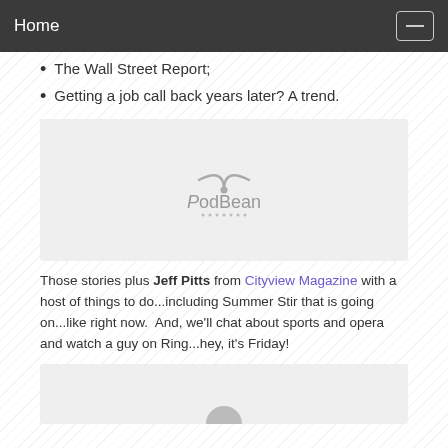Home
The Wall Street Report;
Getting a job call back years later? A trend.
[Figure (logo): PodBean podcast player embed placeholder with PodBean logo]
Those stories plus Jeff Pitts from Cityview Magazine with a host of things to do...including Summer Stir that is going on...like right now.  And, we'll chat about sports and opera and watch a guy on Ring...hey, it's Friday!
[Figure (other): Second PodBean podcast player embed placeholder, partially visible]